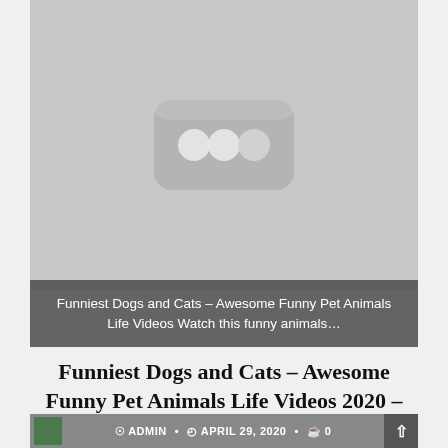[Figure (screenshot): Blurred YouTube-style video thumbnail showing a rounded rectangle logo with three circles on a gray background]
Funniest Dogs and Cats – Awesome Funny Pet Animals Life Videos Watch this funny animals…
Funniest Dogs and Cats – Awesome Funny Pet Animals Life Videos 2020 – Funny animals
ADMIN • APRIL 29, 2020 • 0